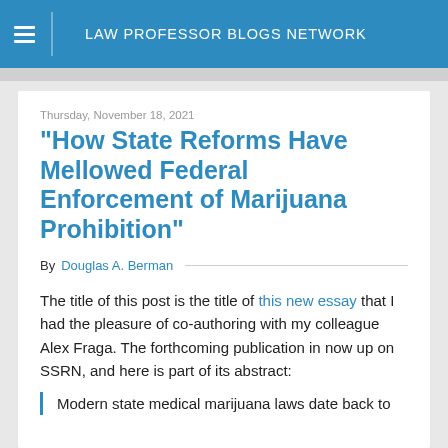LAW PROFESSOR BLOGS NETWORK
Thursday, November 18, 2021
"How State Reforms Have Mellowed Federal Enforcement of Marijuana Prohibition"
By Douglas A. Berman
The title of this post is the title of this new essay that I had the pleasure of co-authoring with my colleague Alex Fraga. The forthcoming publication in now up on SSRN, and here is part of its abstract:
Modern state medical marijuana laws date back to